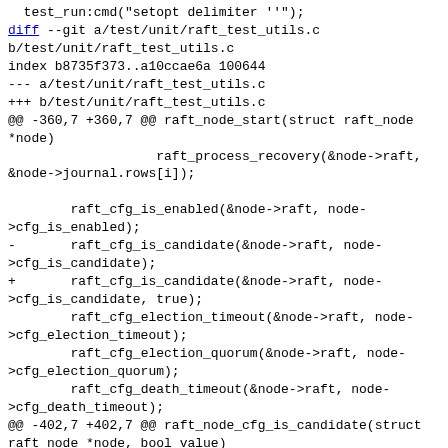test_run:cmd("setopt delimiter ''");
diff --git a/test/unit/raft_test_utils.c b/test/unit/raft_test_utils.c
index b8735f373..a10ccae6a 100644
--- a/test/unit/raft_test_utils.c
+++ b/test/unit/raft_test_utils.c
@@ -360,7 +360,7 @@ raft_node_start(struct raft_node *node)
                    raft_process_recovery(&node->raft, &node->journal.rows[i]);

        raft_cfg_is_enabled(&node->raft, node->cfg_is_enabled);
-       raft_cfg_is_candidate(&node->raft, node->cfg_is_candidate);
+       raft_cfg_is_candidate(&node->raft, node->cfg_is_candidate, true);
        raft_cfg_election_timeout(&node->raft, node->cfg_election_timeout);
        raft_cfg_election_quorum(&node->raft, node->cfg_election_quorum);
        raft_cfg_death_timeout(&node->raft, node->cfg_death_timeout);
@@ -402,7 +402,7 @@ raft_node_cfg_is_candidate(struct raft_node *node, bool value)
 {
        node->cfg_is_candidate = value;
        if (raft_node_is_started(node)) {
-               raft_cfg_is_candidate(&node->raft, value);
...